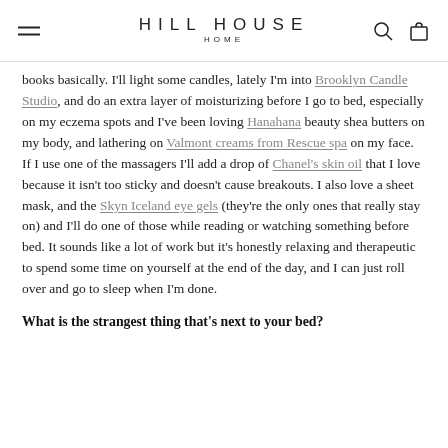HILL HOUSE HOME
books basically. I'll light some candles, lately I'm into Brooklyn Candle Studio, and do an extra layer of moisturizing before I go to bed, especially on my eczema spots and I've been loving Hanahana beauty shea butters on my body, and lathering on Valmont creams from Rescue spa on my face. If I use one of the massagers I'll add a drop of Chanel's skin oil that I love because it isn't too sticky and doesn't cause breakouts. I also love a sheet mask, and the Skyn Iceland eye gels (they're the only ones that really stay on) and I'll do one of those while reading or watching something before bed. It sounds like a lot of work but it's honestly relaxing and therapeutic to spend some time on yourself at the end of the day, and I can just roll over and go to sleep when I'm done.
What is the strangest thing that's next to your bed?